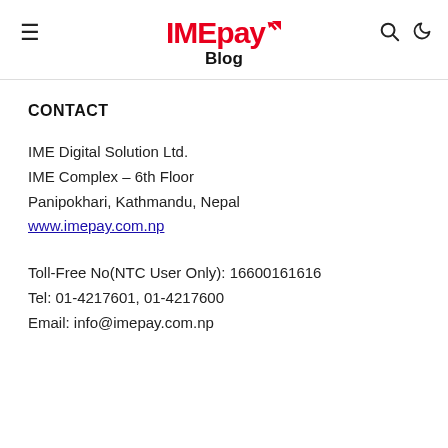IMEpay Blog
CONTACT
IME Digital Solution Ltd.
IME Complex – 6th Floor
Panipokhari, Kathmandu, Nepal
www.imepay.com.np
Toll-Free No(NTC User Only): 16600161616
Tel: 01-4217601, 01-4217600
Email: info@imepay.com.np